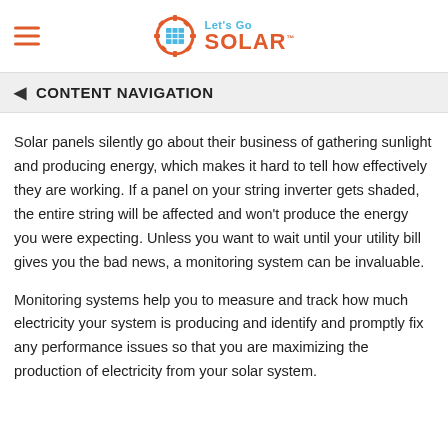Let's Go SOLAR
◄ CONTENT NAVIGATION
Solar panels silently go about their business of gathering sunlight and producing energy, which makes it hard to tell how effectively they are working. If a panel on your string inverter gets shaded, the entire string will be affected and won't produce the energy you were expecting. Unless you want to wait until your utility bill gives you the bad news, a monitoring system can be invaluable.
Monitoring systems help you to measure and track how much electricity your system is producing and identify and promptly fix any performance issues so that you are maximizing the production of electricity from your solar system.